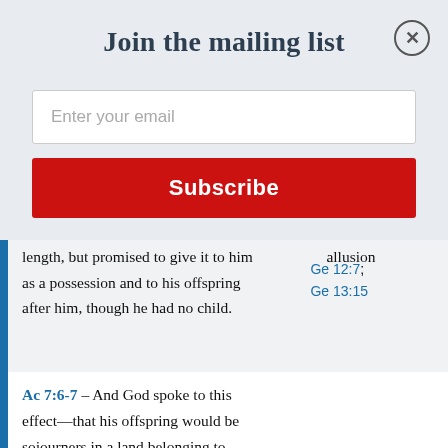[Figure (other): Airmail diagonal stripe border in red, white, and blue at top of page]
Join the mailing list
[Figure (other): Email input field with placeholder 'Enter your email']
[Figure (other): Red Subscribe button]
length, but promised to give it to him as a possession and to his offspring after him, though he had no child.
Ge 12:7; Ge 13:15  allusion
Ac 7:6-7 – And God spoke to this effect—that his offspring would be sojourners in a land belonging to others, who would enslave them and afflict them four hundred years. 'But I will judge the nation that they serve,' said God, 'and after that they shall
Ge 15:13-14